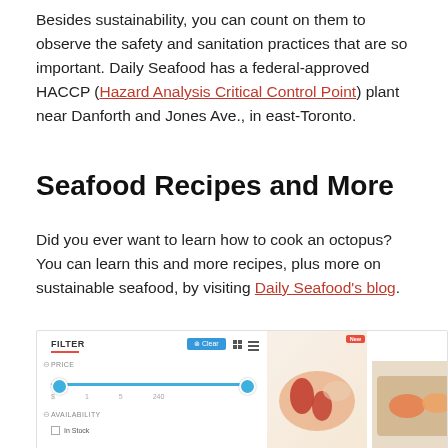Besides sustainability, you can count on them to observe the safety and sanitation practices that are so important. Daily Seafood has a federal-approved HACCP (Hazard Analysis Critical Control Point) plant near Danforth and Jones Ave., in east-Toronto.
Seafood Recipes and More
Did you ever want to learn how to cook an octopus? You can learn this and more recipes, plus more on sustainable seafood, by visiting Daily Seafood's blog.
[Figure (screenshot): Screenshot of a seafood e-commerce website filter panel showing FILTER label with Clear button, Price slider ranging from $1 to $240, and Availability with In Stock checkbox. Two product images are visible on the right: one showing salmon/seafood with a New badge, and one showing seafood on a wooden board.]